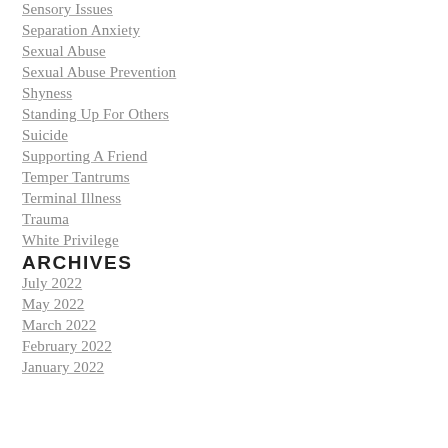Sensory Issues
Separation Anxiety
Sexual Abuse
Sexual Abuse Prevention
Shyness
Standing Up For Others
Suicide
Supporting A Friend
Temper Tantrums
Terminal Illness
Trauma
White Privilege
ARCHIVES
July 2022
May 2022
March 2022
February 2022
January 2022